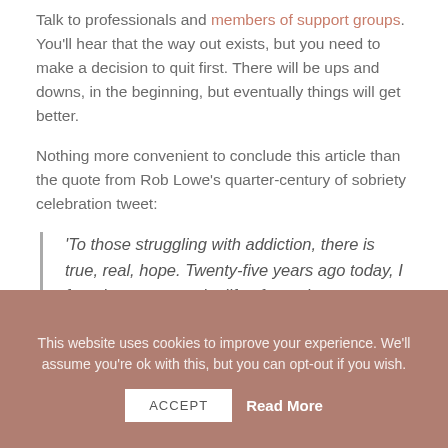Talk to professionals and members of support groups. You'll hear that the way out exists, but you need to make a decision to quit first. There will be ups and downs, in the beginning, but eventually things will get better.
Nothing more convenient to conclude this article than the quote from Rob Lowe's quarter-century of sobriety celebration tweet:
'To those struggling with addiction, there is true, real, hope. Twenty-five years ago today, I found recovery and a life of promise. #Grateful'.
This website uses cookies to improve your experience. We'll assume you're ok with this, but you can opt-out if you wish.